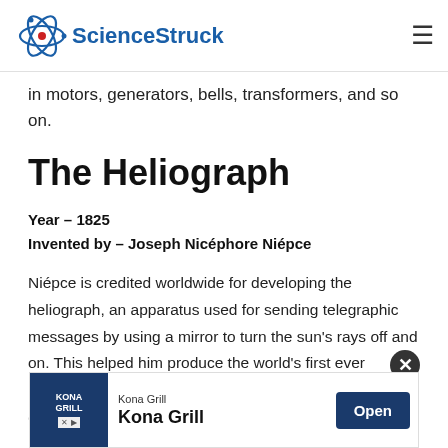ScienceStruck
in motors, generators, bells, transformers, and so on.
The Heliograph
Year – 1825
Invented by – Joseph Nicéphore Niépce
Niépce is credited worldwide for developing the heliograph, an apparatus used for sending telegraphic messages by using a mirror to turn the sun's rays off and on. This helped him produce the world's first ever photograph, which was taken by Niépce after waiting for a duration of eight long hours.
[Figure (other): Advertisement banner for Kona Grill restaurant with logo, name, and Open button]